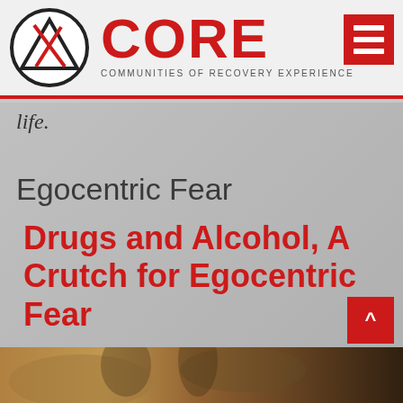[Figure (logo): CORE Communities of Recovery Experience logo with circular mountain/triangle symbol]
life.
Egocentric Fear
Drugs and Alcohol, A Crutch for Egocentric Fear
[Figure (photo): Partial view of a vintage/Renaissance-style painting at the bottom of the page]